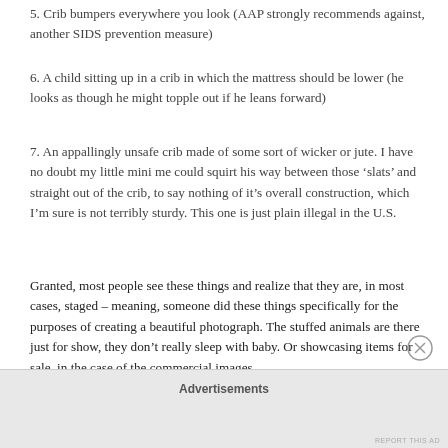5. Crib bumpers everywhere you look (AAP strongly recommends against, another SIDS prevention measure)
6. A child sitting up in a crib in which the mattress should be lower (he looks as though he might topple out if he leans forward)
7. An appallingly unsafe crib made of some sort of wicker or jute. I have no doubt my little mini me could squirt his way between those ‘slats’ and straight out of the crib, to say nothing of it’s overall construction, which I’m sure is not terribly sturdy. This one is just plain illegal in the U.S.
Granted, most people see these things and realize that they are, in most cases, staged – meaning, someone did these things specifically for the purposes of creating a beautiful photograph. The stuffed animals are there just for show, they don’t really sleep with baby. Or showcasing items for sale, in the case of the commercial images.
Advertisements